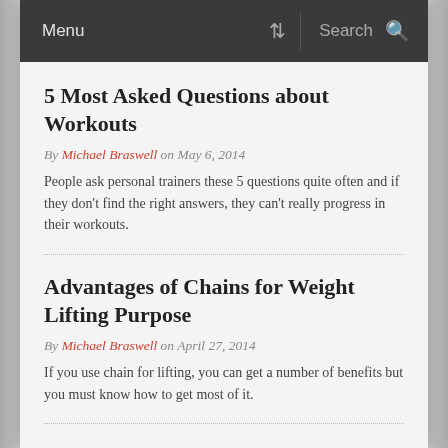Menu  Search
5 Most Asked Questions about Workouts
By Michael Braswell on May 6, 2014
People ask personal trainers these 5 questions quite often and if they don't find the right answers, they can't really progress in their workouts.
Advantages of Chains for Weight Lifting Purpose
By Michael Braswell on April 27, 2014
If you use chain for lifting, you can get a number of benefits but you must know how to get most of it.
Recent Research Shows More Hidden Triggers of Overtraining
By Michael Braswell on April 25, 2014